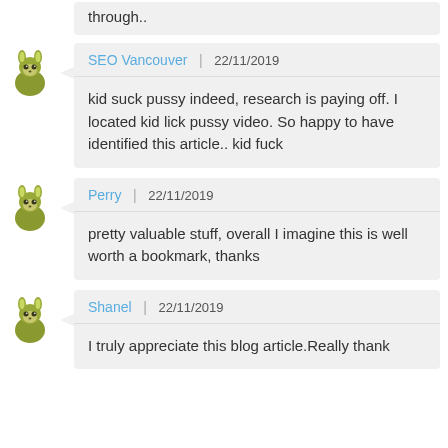through..
SEO Vancouver | 22/11/2019
kid suck pussy indeed, research is paying off. I located kid lick pussy video. So happy to have identified this article.. kid fuck
Perry | 22/11/2019
pretty valuable stuff, overall I imagine this is well worth a bookmark, thanks
Shanel | 22/11/2019
I truly appreciate this blog article.Really thank